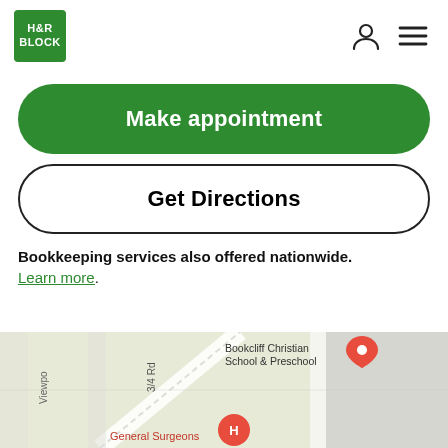H&R BLOCK
Make appointment
Get Directions
Bookkeeping services also offered nationwide. Learn more.
[Figure (map): Google Maps snippet showing local area with Bookcliff Christian School & Preschool, General Surgeons, 3/4 Rd, Viewpoint road labels and an H&R Block marker pin.]